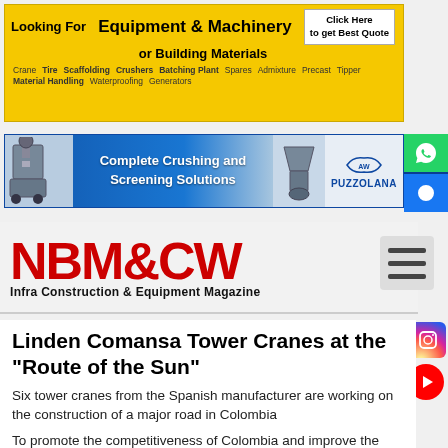[Figure (infographic): Yellow advertisement banner for equipment and machinery or building materials with keywords like Crane, Crushers, Tipper, Batching Plant, Material Handling, Waterproofing, Spares, Generators, Scaffolding, Precast. Has 'Click Here to get Best Quote' button.]
[Figure (infographic): Blue advertisement banner for Puzzolana showing Complete Crushing and Screening Solutions with images of crushing/screening machinery.]
[Figure (logo): NBM&CW logo - Infra Construction & Equipment Magazine masthead in red and black.]
Linden Comansa Tower Cranes at the "Route of the Sun"
Six tower cranes from the Spanish manufacturer are working on the construction of a major road in Colombia
To promote the competitiveness of Colombia and improve the country's infrastructure, the Colombian...